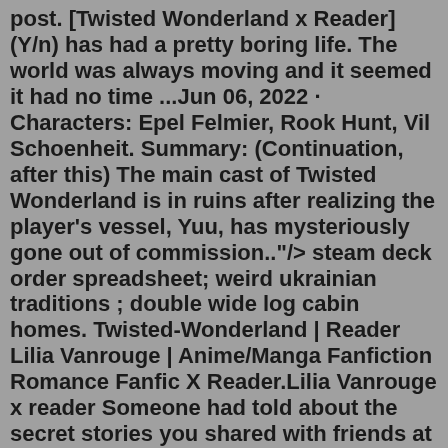post. [Twisted Wonderland x Reader] (Y/n) has had a pretty boring life. The world was always moving and it seemed it had no time ...Jun 06, 2022 · Characters: Epel Felmier, Rook Hunt, Vil Schoenheit. Summary: (Continuation, after this) The main cast of Twisted Wonderland is in ruins after realizing the player's vessel, Yuu, has mysteriously gone out of commission.."/> steam deck order spreadsheet; weird ukrainian traditions ; double wide log cabin homes. Twisted-Wonderland | Reader Lilia Vanrouge | Anime/Manga Fanfiction Romance Fanfic X Reader.Lilia Vanrouge x reader Someone had told about the secret stories you shared with friends at sleepovers. After being shamed in front of everyone and your family, you left to save them from the embarrassment. Feb 05, 2016 · The latest Tweets from Ben Shapiro (@benshapiro).Feb 27, 2022 · #twst #twst wonderland #twisted wonderland #twisted wonderland x reader #riddle rosehearts #trey clover #cater diamond #ace trappola #deuce spade #leona kingscholar #ruggie bucchi #jack howl #azul ashengrotto #jade leech